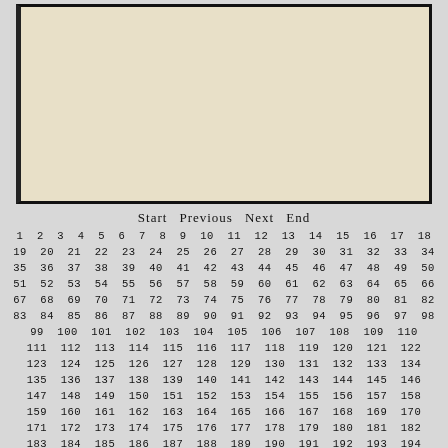[Figure (photo): Blank/empty off-white aged book or document page, photographed from above, with dark border/binding visible on left and bottom edges]
Start  Previous  Next  End
1 2 3 4 5 6 7 8 9 10 11 12 13 14 15 16 17 18
19 20 21 22 23 24 25 26 27 28 29 30 31 32 33 34
35 36 37 38 39 40 41 42 43 44 45 46 47 48 49 50
51 52 53 54 55 56 57 58 59 60 61 62 63 64 65 66
67 68 69 70 71 72 73 74 75 76 77 78 79 80 81 82
83 84 85 86 87 88 89 90 91 92 93 94 95 96 97 98
99 100 101 102 103 104 105 106 107 108 109 110
111 112 113 114 115 116 117 118 119 120 121 122
123 124 125 126 127 128 129 130 131 132 133 134
135 136 137 138 139 140 141 142 143 144 145 146
147 148 149 150 151 152 153 154 155 156 157 158
159 160 161 162 163 164 165 166 167 168 169 170
171 172 173 174 175 176 177 178 179 180 181 182
183 184 185 186 187 188 189 190 191 192 193 194
195 196 197 198 199 200 201 202 203 204 205 206
207 208 209 210 211 212 213 214 215 216 217 218